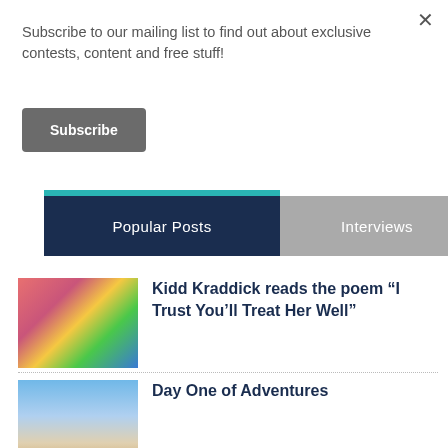×
Subscribe to our mailing list to find out about exclusive contests, content and free stuff!
Subscribe
Popular Posts
Interviews
[Figure (photo): Photo of red sneakers on colorful background]
Kidd Kraddick reads the poem “I Trust You’ll Treat Her Well”
[Figure (photo): Photo of group of people at outdoor event with ferris wheel]
Day One of Adventures